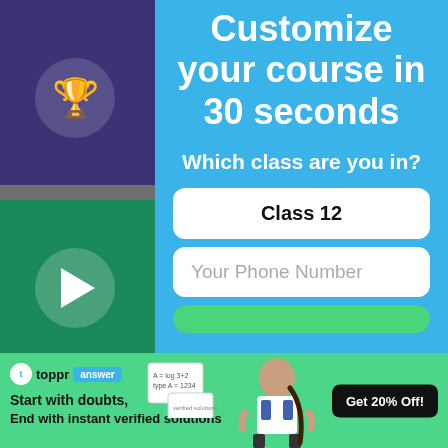[Figure (screenshot): App screenshot showing purple and green panels with trophy and play icons on the left, right-arrow navigation on the right]
Customize your course in 30 seconds
Which class are you in?
Class 12
Your Phone Number
CLA
BOA
EXA
Start with doubts, End with instant verified solutions
Get 20% Off!